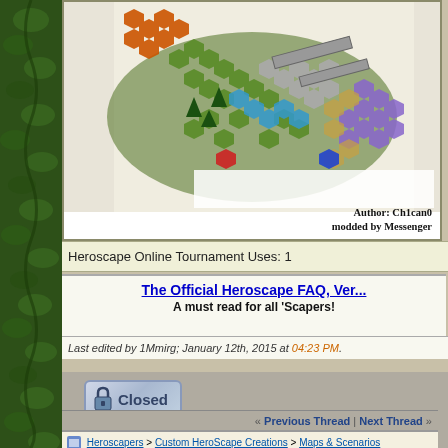[Figure (photo): Heroscape hex tile game map from an isometric view, showing colorful hexagonal terrain tiles including green, orange, gray, blue, and purple tiles with miniature bridges and trees. Text overlay reads: Author: Ch1can0, modded by Messenger]
Heroscape Online Tournament Uses: 1
The Official Heroscape FAQ, Ver... A must read for all 'Scapers!
Last edited by 1Mmirg; January 12th, 2015 at 04:23 PM.
[Figure (illustration): Closed thread button with lock icon and text 'Closed' on a blue-gray cloud/bubble shape]
« Previous Thread | Next Thread »
Heroscapers > Custom HeroScape Creations > Maps & Scenarios
Battlefields of Valhalla (Best of Tournament Maps) - Display